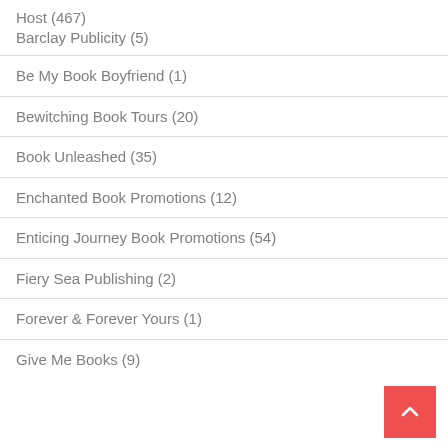Host (467)
Barclay Publicity (5)
Be My Book Boyfriend (1)
Bewitching Book Tours (20)
Book Unleashed (35)
Enchanted Book Promotions (12)
Enticing Journey Book Promotions (54)
Fiery Sea Publishing (2)
Forever & Forever Yours (1)
Give Me Books (9)